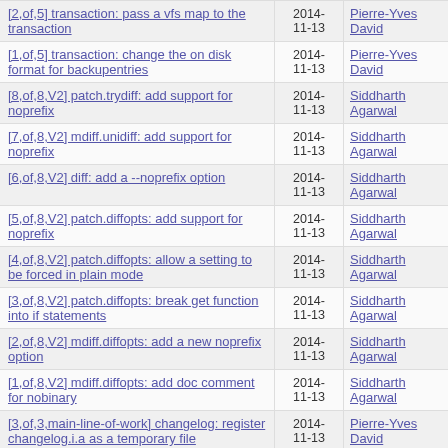[2,of,5] transaction: pass a vfs map to the transaction | 2014-11-13 | Pierre-Yves David
[1,of,5] transaction: change the on disk format for backupentries | 2014-11-13 | Pierre-Yves David
[8,of,8,V2] patch.trydiff: add support for noprefix | 2014-11-13 | Siddharth Agarwal
[7,of,8,V2] mdiff.unidiff: add support for noprefix | 2014-11-13 | Siddharth Agarwal
[6,of,8,V2] diff: add a --noprefix option | 2014-11-13 | Siddharth Agarwal
[5,of,8,V2] patch.diffopts: add support for noprefix | 2014-11-13 | Siddharth Agarwal
[4,of,8,V2] patch.diffopts: allow a setting to be forced in plain mode | 2014-11-13 | Siddharth Agarwal
[3,of,8,V2] patch.diffopts: break get function into if statements | 2014-11-13 | Siddharth Agarwal
[2,of,8,V2] mdiff.diffopts: add a new noprefix option | 2014-11-13 | Siddharth Agarwal
[1,of,8,V2] mdiff.diffopts: add doc comment for nobinary | 2014-11-13 | Siddharth Agarwal
[3,of,3,main-line-of-work] changelog: register changelog.i.a as a temporary file | 2014-11-13 | Pierre-Yves David
[2,of,3,main-line-of-work] transaction: allow to register temporary transaction file | 2014-11-13 | Pierre-Yves David